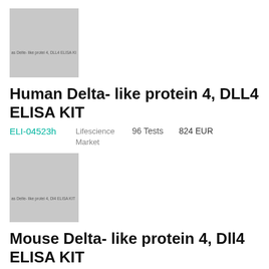[Figure (photo): Product image placeholder for Human Delta-like protein 4, DLL4 ELISA KIT, grey rectangle with text overlay]
Human Delta- like protein 4, DLL4 ELISA KIT
ELI-04523h   Lifescience Market   96 Tests   824 EUR
[Figure (photo): Product image placeholder for Mouse Delta-like protein 4, Dll4 ELISA KIT, grey rectangle with text overlay]
Mouse Delta- like protein 4, Dll4 ELISA KIT
ELI-04524m   Lifescience Market   96 Tests   865 EUR